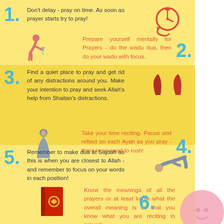1. Don't delay - pray on time. As soon as prayer starts try to pray!
2. Prepare yourself mentally for Prayers - do the wadu dua, then do your wadu with focus.
3. Find a quiet place to pray and get rid of any distractions around you. Make your intention to pray and seek Allah's help from Shaitan's distractions.
4. Take your time reciting. Pause and reflect on each Ayah as you pray - there is no need to rush!
5. Remember to make dua at Sajdah as this is when you are closest to Allah - and remember to focus on your words in each position!
6. Know the meanings of all the prayers or at least know what the overall meaning is so that you know what you are reciting in prayer!